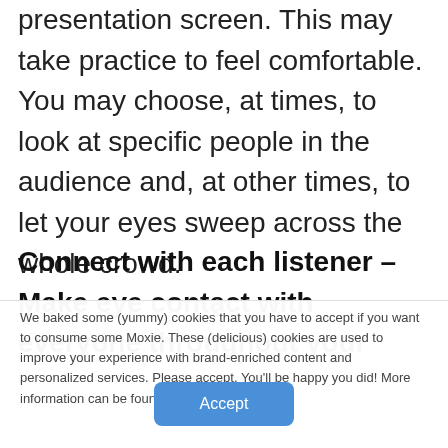presentation screen. This may take practice to feel comfortable. You may choose, at times, to look at specific people in the audience and, at other times, to let your eyes sweep across the whole crowd.
Connect with each listener – Make eye contact with everyone throughout your
We baked some (yummy) cookies that you have to accept if you want to consume some Moxie. These (delicious) cookies are used to improve your experience with brand-enriched content and personalized services. Please accept. You'll be happy you did! More information can be found in our Privacy Policy.